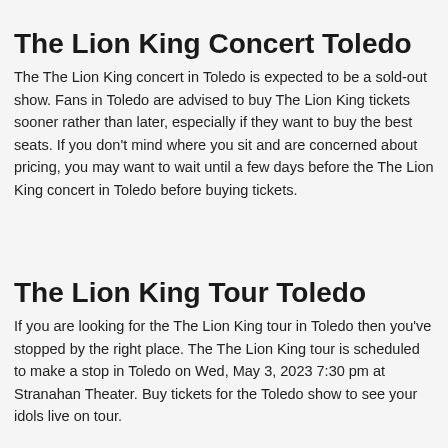The Lion King Concert Toledo
The The Lion King concert in Toledo is expected to be a sold-out show. Fans in Toledo are advised to buy The Lion King tickets sooner rather than later, especially if they want to buy the best seats. If you don't mind where you sit and are concerned about pricing, you may want to wait until a few days before the The Lion King concert in Toledo before buying tickets.
The Lion King Tour Toledo
If you are looking for the The Lion King tour in Toledo then you've stopped by the right place. The The Lion King tour is scheduled to make a stop in Toledo on Wed, May 3, 2023 7:30 pm at Stranahan Theater. Buy tickets for the Toledo show to see your idols live on tour.